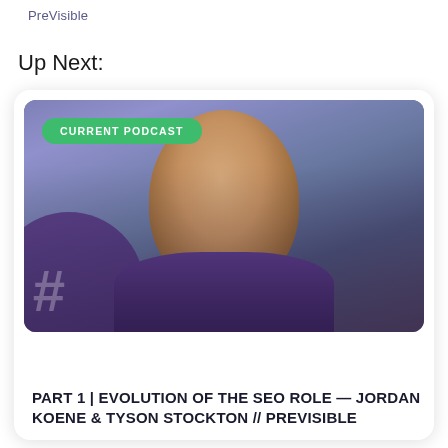PreVisible
Up Next:
[Figure (photo): Podcast card showing a smiling man with a beard against a purple/blue background with 'CURRENT PODCAST' green badge. Card title: PART 1 | EVOLUTION OF THE SEO ROLE — JORDAN KOENE & TYSON STOCKTON // PREVISIBLE]
PART 1 | EVOLUTION OF THE SEO ROLE — JORDAN KOENE & TYSON STOCKTON // PREVISIBLE